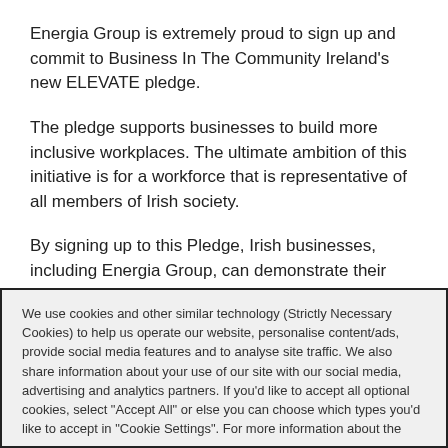Energia Group is extremely proud to sign up and commit to Business In The Community Ireland's new ELEVATE pledge.
The pledge supports businesses to build more inclusive workplaces. The ultimate ambition of this initiative is for a workforce that is representative of all members of Irish society.
By signing up to this Pledge, Irish businesses, including Energia Group, can demonstrate their commitment to building truly inclusive workplaces,
We use cookies and other similar technology (Strictly Necessary Cookies) to help us operate our website, personalise content/ads, provide social media features and to analyse site traffic. We also share information about your use of our site with our social media, advertising and analytics partners. If you'd like to accept all optional cookies, select "Accept All" or else you can choose which types you'd like to accept in "Cookie Settings". For more information about the